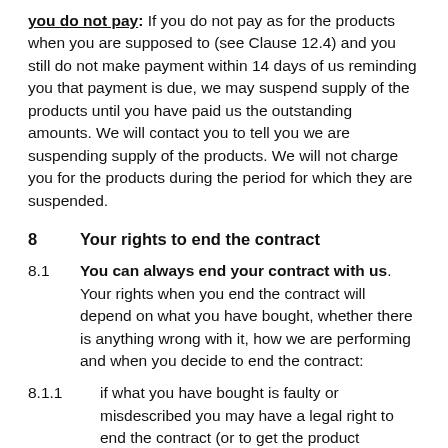you do not pay: If you do not pay as for the products when you are supposed to (see Clause 12.4) and you still do not make payment within 14 days of us reminding you that payment is due, we may suspend supply of the products until you have paid us the outstanding amounts. We will contact you to tell you we are suspending supply of the products. We will not charge you for the products during the period for which they are suspended.
8    Your rights to end the contract
8.1    You can always end your contract with us. Your rights when you end the contract will depend on what you have bought, whether there is anything wrong with it, how we are performing and when you decide to end the contract:
8.1.1    if what you have bought is faulty or misdescribed you may have a legal right to end the contract (or to get the product repaired or replaced or a service re-performed or to get some or all of your